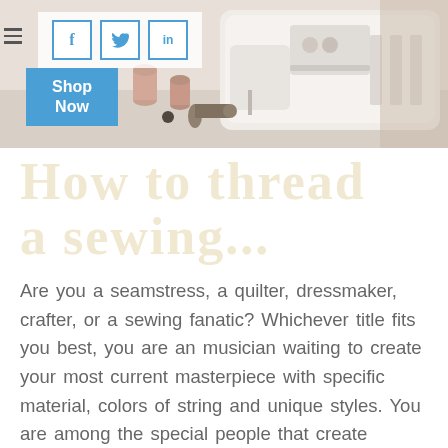[Figure (photo): A white sewing machine on a table with thread spools and sewing accessories, close-up photo]
[Figure (infographic): Social media sharing icons: Facebook (f), Twitter (bird), LinkedIn (in) in blue outlined square boxes on a semi-transparent white bar]
[Figure (infographic): Blue 'Shop Now' call-to-action button]
How to thread a sewing needle
Are you a seamstress, a quilter, dressmaker, crafter, or a sewing fanatic? Whichever title fits you best, you are an musician waiting to create your most current masterpiece with specific material, colors of string and unique styles. You are among the special people that create stunning art via the eye of the sewing needle.